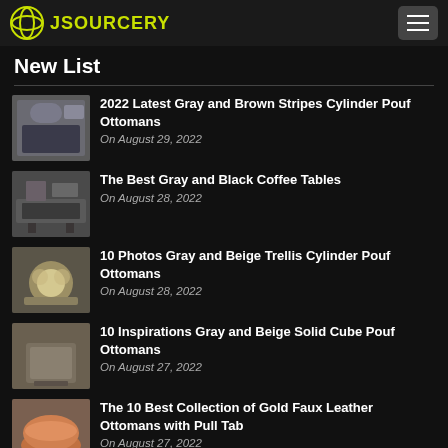JSOURCERY
New List
2022 Latest Gray and Brown Stripes Cylinder Pouf Ottomans — On August 29, 2022
The Best Gray and Black Coffee Tables — On August 28, 2022
10 Photos Gray and Beige Trellis Cylinder Pouf Ottomans — On August 28, 2022
10 Inspirations Gray and Beige Solid Cube Pouf Ottomans — On August 27, 2022
The 10 Best Collection of Gold Faux Leather Ottomans with Pull Tab — On August 27, 2022